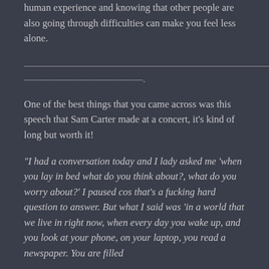human experience and knowing that other people are also going through difficulties can make you feel less alone.
——————————————————————————————————————.
One of the best things that you came across was this speech that Sam Carter made at a concert, it's kind of long but worth it!
“I had a conversation today and I lady asked me ‘when you lay in bed what do you think about?, what do you worry about?’ I paused cos that’s a fucking hard question to answer. But what I said was ‘in a world that we live in right now, when every day you wake up, and you look at your phone, on your laptop, you read a newspaper. You are filled